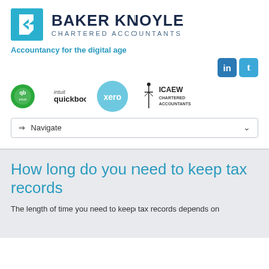[Figure (logo): Baker Knoyle Chartered Accountants logo with teal arrow icon and dark blue bold text]
Accountancy for the digital age
[Figure (logo): LinkedIn and Twitter social media icons]
[Figure (logo): Partner logos: QuickBooks (Intuit), Xero, ICAEW Chartered Accountants]
⇒ Navigate
How long do you need to keep tax records
The length of time you need to keep tax records depends on